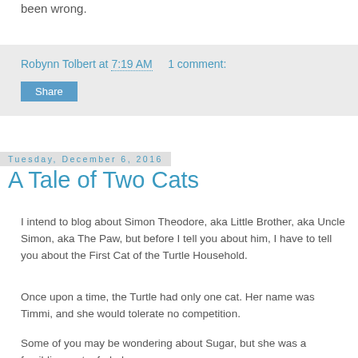been wrong.
Robynn Tolbert at 7:19 AM    1 comment:
Share
Tuesday, December 6, 2016
A Tale of Two Cats
I intend to blog about Simon Theodore, aka Little Brother, aka Uncle Simon, aka The Paw, but before I tell you about him, I have to tell you about the First Cat of the Turtle Household.
Once upon a time, the Turtle had only one cat. Her name was Timmi, and she would tolerate no competition.
Some of you may be wondering about Sugar, but she was a fursibling, not a furbaby.